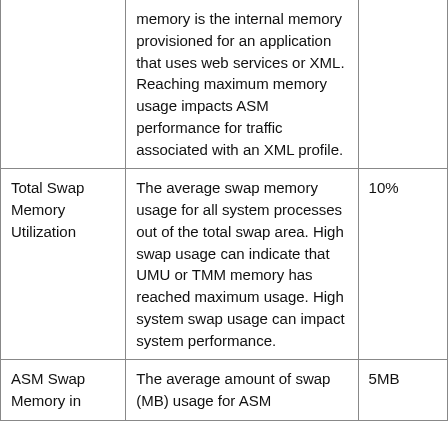|  | memory is the internal memory provisioned for an application that uses web services or XML. Reaching maximum memory usage impacts ASM performance for traffic associated with an XML profile. |  |
| Total Swap Memory Utilization | The average swap memory usage for all system processes out of the total swap area. High swap usage can indicate that UMU or TMM memory has reached maximum usage. High system swap usage can impact system performance. | 10% |
| ASM Swap Memory in... | The average amount of swap (MB) usage for ASM... | 5MB |